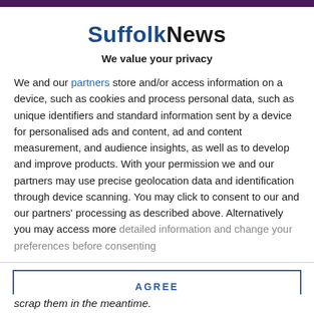SuffolkNews
We value your privacy
We and our partners store and/or access information on a device, such as cookies and process personal data, such as unique identifiers and standard information sent by a device for personalised ads and content, ad and content measurement, and audience insights, as well as to develop and improve products. With your permission we and our partners may use precise geolocation data and identification through device scanning. You may click to consent to our and our partners' processing as described above. Alternatively you may access more detailed information and change your preferences before consenting
AGREE
MORE OPTIONS
scrap them in the meantime.